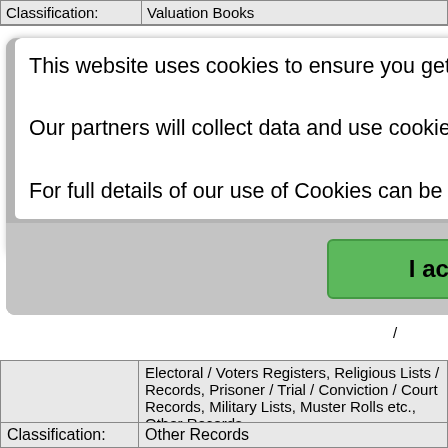| Classification: | Valuation Books |
| --- | --- |
[Figure (screenshot): Cookie consent modal popup with text about cookies, privacy policy link, and green 'I accept' button]
|  | Electoral / Voters Registers, Religious Lists / Records, Prisoner / Trial / Conviction / Court Records, Military Lists, Muster Rolls etc., Other Records |
| Title: | Atavus Search Engine |
| Link: | https://search.atavus.org/api/v1/search |
| Description: | Atavus Search Engine Incorporating Fermanagh Gold Genealogy Pages |
| Extra Info: | Easy to use search. |
| Classification: | Other Records |
| --- | --- |